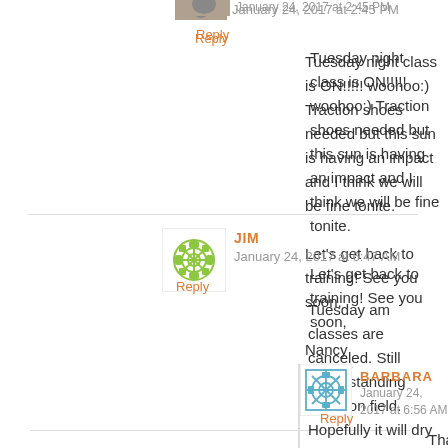[Figure (photo): Small avatar photo of commenter (partially visible at top)]
January 24, 2017 at 2:45 PM
Reply
Tuesday night class is ON!!!!! woohoo:) Traction shoes needed but this sun is having an impact and I think we will be fine tonite.

Let's get back to training! See you soon,

Nancy
[Figure (illustration): Green geometric/floral avatar icon for user JIM]
JIM
January 24, 2017 at 6:47 AM
Reply
Tuesday am classes are canceled. Still some standing water on field. Hopefully it will dry up enough for the pm classes.
[Figure (illustration): Blue geometric avatar icon for user BARBARA]
BARBARA
January 24, 2017 at 6:56 AM
Reply
Thanks Jim. See you Thursday.